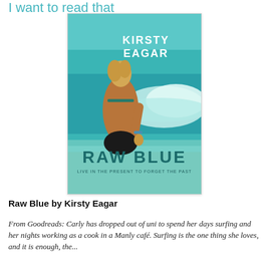I want to read that
[Figure (illustration): Book cover of 'Raw Blue' by Kirsty Eagar. Features a young woman in a bikini from behind, kneeling near ocean waves on a teal/turquoise-toned beach scene. Title 'RAW BLUE' in large distressed font at the bottom, with subtitle 'LIVE IN THE PRESENT TO FORGET THE PAST' and author name 'KIRSTY EAGAR' at the top.]
Raw Blue by Kirsty Eagar
From Goodreads: Carly has dropped out of uni to spend her days surfing and her nights working as a cook in a Manly café. Surfing is the one thing she loves, and it is enough, the...